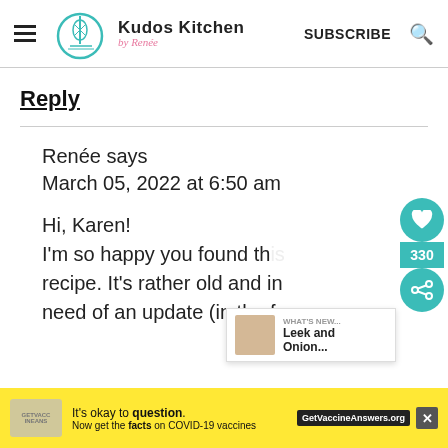[Figure (logo): Kudos Kitchen by Renée logo with whisk and pot icon, teal and pink colors]
Kudos Kitchen by Renée   SUBSCRIBE
Reply
Renée says
March 05, 2022 at 6:50 am
Hi, Karen!
I'm so happy you found this recipe. It's rather old and in need of an update (in the form
[Figure (screenshot): Popup card showing food photo thumbnail with label 'Leek and Onion...']
[Figure (infographic): Yellow ad banner: It's okay to question. Now get the facts on COVID-19 vaccines. GetVaccineAnswers.org]